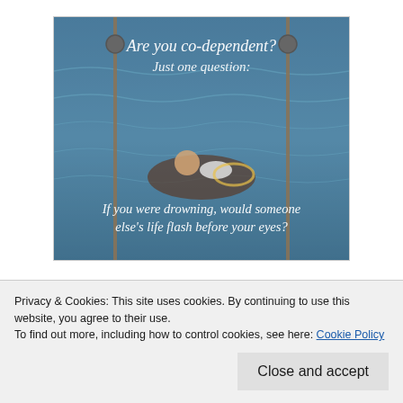[Figure (photo): Image showing two people in water, one seemingly drowning while the other holds them. Text overlay reads: 'Are you co-dependent? Just one question:' and 'If you were drowning, would someone else's life flash before your eyes?']
This morning I was asked if I could post about some of the characteristics of codependent people to help others understand a little more about codependency. I am more than happy to share what I
Privacy & Cookies: This site uses cookies. By continuing to use this website, you agree to their use.
To find out more, including how to control cookies, see here: Cookie Policy
Close and accept
I started my recovery back in July of 2005 by